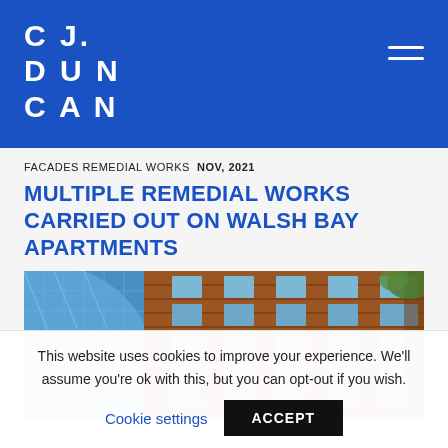CJ. DUN CAN
FACADES REMEDIAL WORKS NOV, 2021
MULTIPLE REMEDIAL WORKS CARRIED OUT ON WALSH BAY APARTMENTS
[Figure (photo): Exterior photograph of Walsh Bay Apartments showing curved modern facade with blue metallic cladding on the left and red-brown brick facade on the right, with windows and balconies visible.]
This website uses cookies to improve your experience. We'll assume you're ok with this, but you can opt-out if you wish.
Cookie settings    ACCEPT